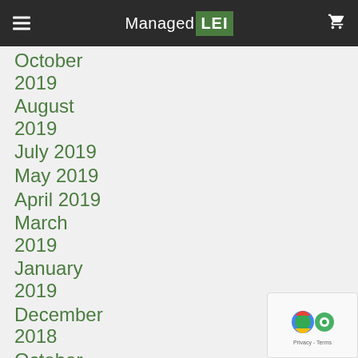ManagedLEI
October 2019
August 2019
July 2019
May 2019
April 2019
March 2019
January 2019
December 2018
October 2018
September 2018